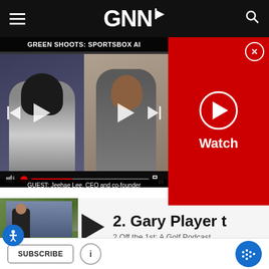GNN (Golf News Network) - Navigation bar
[Figure (screenshot): Video player showing GREEN SHOOTS: SPORTSBOX AI episode with two participants in split screen, video controls, guest caption 'GUEST: Jeehae Lee, CEO and co-founder', and a red Watch panel with play button]
[Figure (screenshot): Podcast card showing thumbnail of man on golf course and title '2. Gary Player t' with subtitle '2 Off the 1st: A Golf Podcast']
2. Gary Player torches LIV, Smith and Stens...  17:57
1. Six leave for LIV; is the Presidents Cup d...  19:39
14. Golfer suspended 3 years for flipping th...  22:47
13. Cameron Champ's emotional win; Rory ...  27:42
SUBSCRIBE  i  (podcast icon)